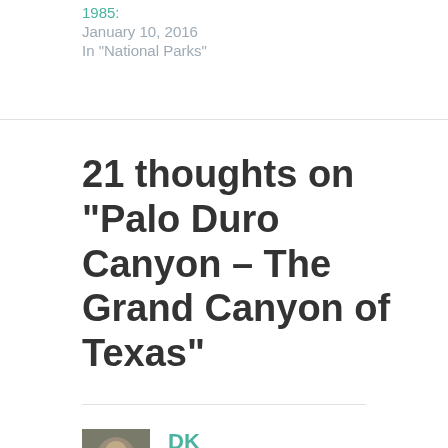1985:
January 10, 2016
In "National Parks"
21 thoughts on “Palo Duro Canyon – The Grand Canyon of Texas”
DK
APRIL 23, 2015 AT 10:28 AM